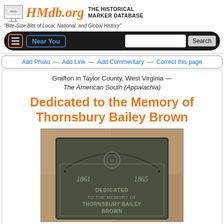HMdb.org THE HISTORICAL MARKER DATABASE
"Bite-Size Bits of Local, National, and Global History"
Near You | Search
Add Photo — Add Link — Add Commentary — Correct this page
Grafton in Taylor County, West Virginia — The American South (Appalachia)
Dedicated to the Memory of Thornsbury Bailey Brown
[Figure (photo): A bronze historical marker plaque mounted on stone, showing '1861' and '1865' with text reading 'DEDICATED TO THE MEMORY OF THORNSBURY BAILEY BROWN']